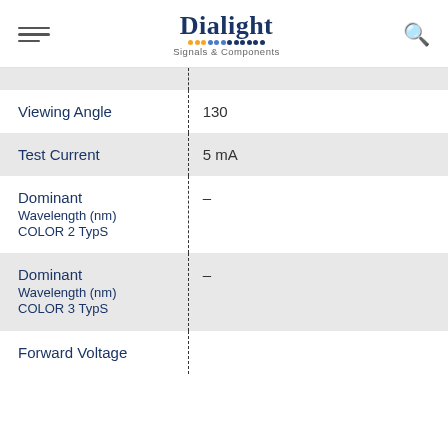Dialight — Signals & Components
| Property | Value |
| --- | --- |
| Viewing Angle | 130 |
| Test Current | 5 mA |
| Dominant
Wavelength (nm)
COLOR 2 TypS | – |
| Dominant
Wavelength (nm)
COLOR 3 TypS | – |
| Forward Voltage |  |